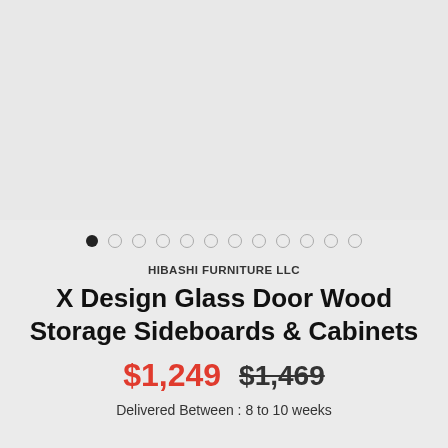[Figure (other): Product image area (light gray placeholder for furniture product photo)]
HIBASHI FURNITURE LLC
X Design Glass Door Wood Storage Sideboards & Cabinets
$1,249  $1,469
Delivered Between : 8 to 10 weeks